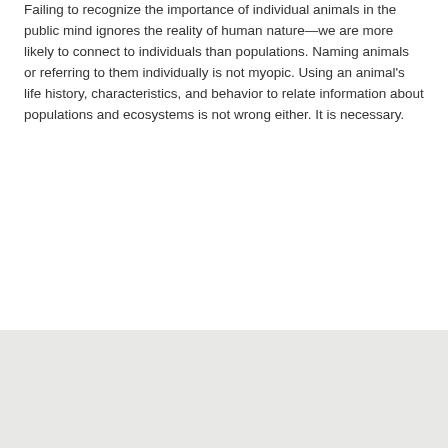Failing to recognize the importance of individual animals in the public mind ignores the reality of human nature—we are more likely to connect to individuals than populations. Naming animals or referring to them individually is not myopic. Using an animal's life history, characteristics, and behavior to relate information about populations and ecosystems is not wrong either. It is necessary.
bear, bears, Brown Bear, wildlife, national parks, interpretation
Last updated: March 29, 2016
CONTACT INFO
Mailing Address: